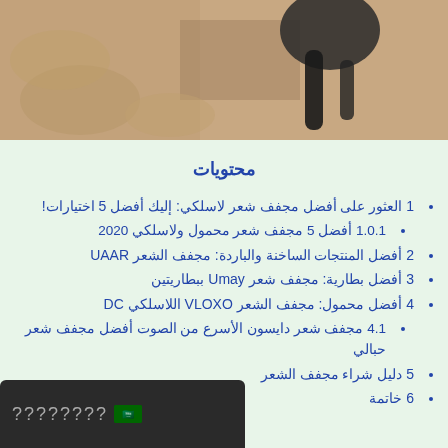[Figure (photo): Partial photo of a hair dryer on a sandy/rocky surface with Hairdryerfair.com watermark]
محتويات
1 العثور على أفضل مجفف شعر لاسلكي: إليك أفضل 5 اختيارات!
1.0.1 أفضل 5 مجفف شعر محمول ولاسلكي 2020
2 أفضل المنتجات الساخنة والباردة: مجفف الشعر UAAR
3 أفضل بطارية: مجفف شعر Umay ببطاريتين
4 أفضل محمول: مجفف الشعر VLOXO اللاسلكي DC
4.1 مجفف شعر دايسون الأسرع من الصوت أفضل مجفف شعر حبالي
5 دليل شراء مجفف الشعر
6 خاتمة
[Figure (screenshot): Phone overlay with question marks and Saudi Arabia flag emoji]